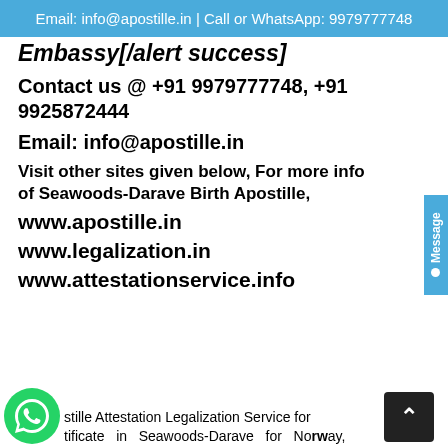Email: info@apostille.in | Call or WhatsApp: 9979777748
Embassy[/alert success]
Contact us @ +91 9979777748, +91 9925872444
Email: info@apostille.in
Visit other sites given below, For more info of Seawoods-Darave Birth Apostille,
www.apostille.in
www.legalization.in
www.attestationservice.info
Apostille Attestation Legalization Service for Birth Certificate in Seawoods-Darave for Norway,